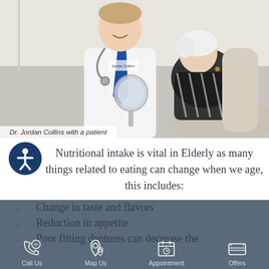[Figure (photo): Doctor (Dr. Jordan Collins) smiling and holding a mirror while interacting with an elderly female patient in a dental/medical office setting]
Dr. Jordan Collins with a patient
Nutritional intake is vital in Elderly as many things related to eating can change when we age, this includes:
Reduced salivary flow
Change in taste and flavors
Reduction in appetite
Poor fitting dentures can decrease the